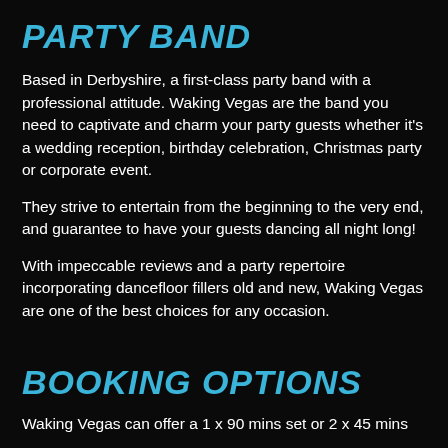PARTY BAND
Based in Derbyshire, a first-class party band with a professional attitude. Waking Vegas are the band you need to captivate and charm your party guests whether it's a wedding reception, birthday celebration, Christmas party or corporate event.
They strive to entertain from the beginning to the very end, and guarantee to have your guests dancing all night long!
With impeccable reviews and a party repertoire incorporating dancefloor fillers old and new, Waking Vegas are one of the best choices for any occasion.
BOOKING OPTIONS
Waking Vegas can offer a 1 x 90 mins set or 2 x 45 mins